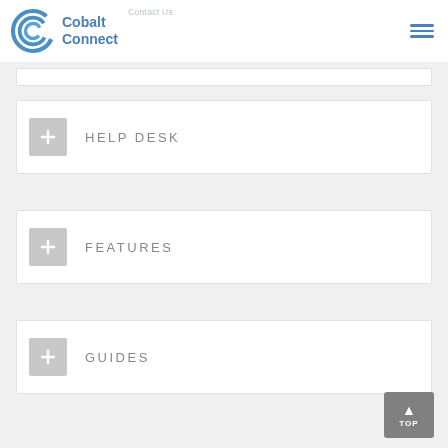Cobalt Connect | Contact Us
HELP DESK
FEATURES
GUIDES